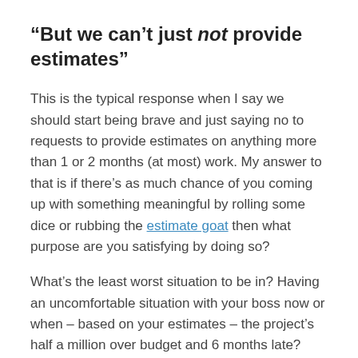“But we can’t just not provide estimates”
This is the typical response when I say we should start being brave and just saying no to requests to provide estimates on anything more than 1 or 2 months (at most) work. My answer to that is if there’s as much chance of you coming up with something meaningful by rolling some dice or rubbing the estimate goat then what purpose are you satisfying by doing so?
What’s the least worst situation to be in? Having an uncomfortable situation with your boss now or when – based on your estimates – the project’s half a million over budget and 6 months late?
Conclusion